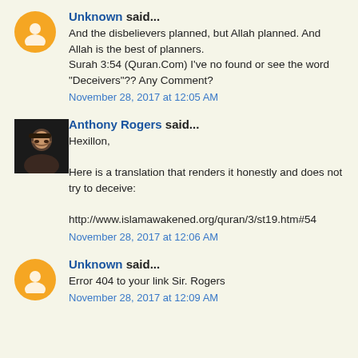Unknown said...
And the disbelievers planned, but Allah planned. And Allah is the best of planners.
Surah 3:54 (Quran.Com) I've no found or see the word "Deceivers"?? Any Comment?
November 28, 2017 at 12:05 AM
Anthony Rogers said...
Hexillon,

Here is a translation that renders it honestly and does not try to deceive:

http://www.islamawakened.org/quran/3/st19.htm#54
November 28, 2017 at 12:06 AM
Unknown said...
Error 404 to your link Sir. Rogers
November 28, 2017 at 12:09 AM